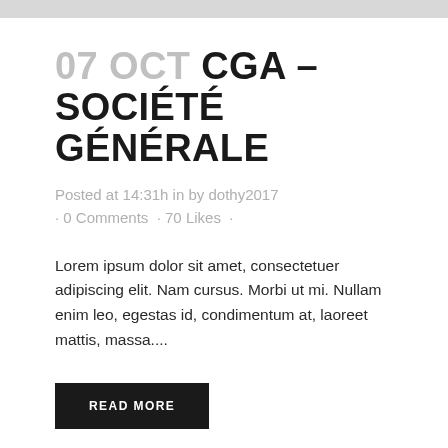07 OCT CGA – SOCIÉTÉ GÉNÉRALE
Posted at 14:31h in by dothy2017 · 0 Comments · 70 Likes ·
Lorem ipsum dolor sit amet, consectetuer adipiscing elit. Nam cursus. Morbi ut mi. Nullam enim leo, egestas id, condimentum at, laoreet mattis, massa....
READ MORE